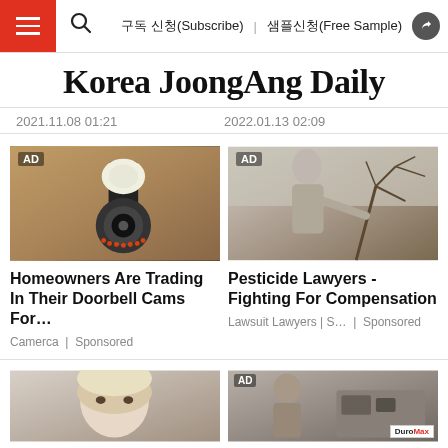≡  🔍  구독 신청(Subscribe)  샘플신청(Free Sample)  ➤
Korea JoongAng Daily
2021.11.08 01:21    2022.01.13 02:09
[Figure (photo): AD - Security camera mounted on exterior wall (Camerca sponsored ad)]
Homeowners Are Trading In Their Doorbell Cams For…
Camerca | Sponsored
[Figure (photo): AD - Person in field with trees (Lawsuit Lawyers pesticide sponsored ad)]
Pesticide Lawyers - Fighting For Compensation
Lawsuit Lawyers | S… | Sponsored
[Figure (photo): Bottom left: close-up of blonde person's face]
[Figure (photo): AD - DuroMax sponsored ad image with person and equipment, DuroMax logo visible]